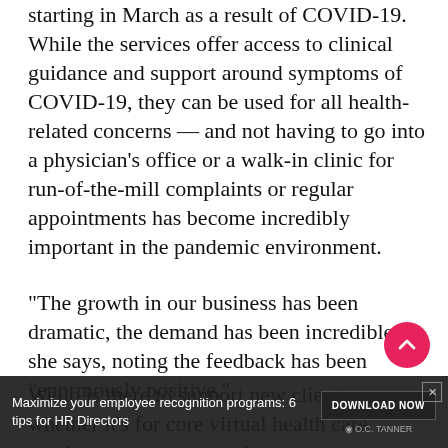starting in March as a result of COVID-19. While the services offer access to clinical guidance and support around symptoms of COVID-19, they can be used for all health-related concerns — and not having to go into a physician's office or a walk-in clinic for run-of-the-mill complaints or regular appointments has become incredibly important in the pandemic environment.
“The growth in our business has been dramatic, the demand has been incredible,” she says, noting the feedback has been “enormously positive.”
Wello is there to support new clients, whether it’s for core virtual health care services or return to work support… esses have been modified so employers can give their
[Figure (other): Advertisement overlay: 'Maximize your employee recognition programs: 6 tips for HR Directors' with a DOWNLOAD NOW button and O.C. Tanner logo, on a dark background.]